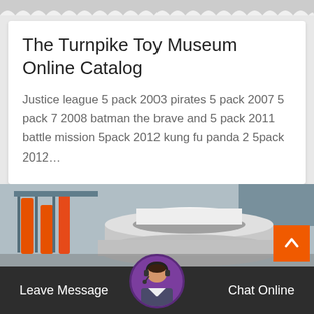The Turnpike Toy Museum Online Catalog
Justice league 5 pack 2003 pirates 5 pack 2007 5 pack 7 2008 batman the brave and 5 pack 2011 battle mission 5pack 2012 kung fu panda 2 5pack 2012…
[Figure (photo): Industrial machinery photo showing large cylindrical components, possibly a rocket or industrial equipment, with orange hydraulic parts visible on the left.]
Leave Message
Chat Online